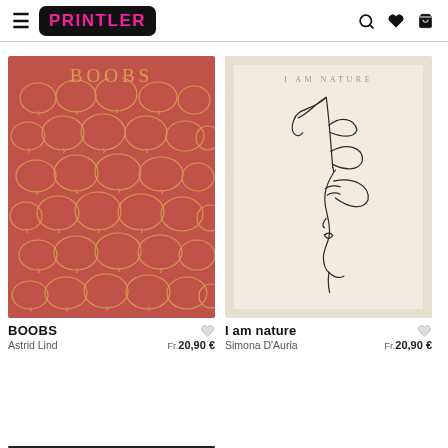PRINTLER
[Figure (illustration): Art print poster titled BOOBS by Astrid Lind — terracotta/rose red background with golden outlined abstract rounded shapes filling the poster, 'BOOBS' text at top in gold serif letters]
[Figure (illustration): Art print poster titled I am nature by Simona D'Auria — beige background with inner cream panel, minimal one-line drawing of a woman's face profile with leaves/botanical elements, 'I AM NATURE' text at top in spaced serif letters]
BOOBS
Astrid Lind
Fr. 20,90 €
I am nature
Simona D'Auria
Fr. 20,90 €